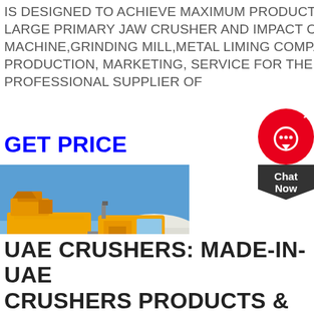IS DESIGNED TO ACHIEVE MAXIMUM PRODUCTIVITY AND HIGH REDUCTION RATIO. FROM LARGE PRIMARY JAW CRUSHER AND IMPACT CRUSHER CRUSHERS IN UAE STONE CRUSHER MACHINE,GRINDING MILL,METAL LIMING COMPANY IS A RESEARCH AND DEVELOPMENT, PRODUCTION, MARKETING, SERVICE FOR THE INTEGRATED ENTERPRISE, AND IT'S A PROFESSIONAL SUPPLIER OF
GET PRICE
[Figure (photo): A large yellow mobile crushing plant on a flatbed truck in a desert/quarry setting under a blue sky]
UAE CRUSHERS: MADE-IN-UAE CRUSHERS PRODUCTS &